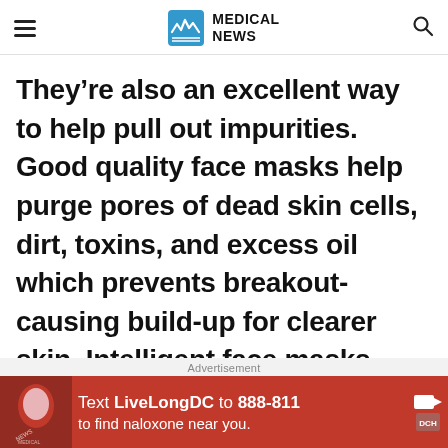MEDICAL NEWS
They’re also an excellent way to help pull out impurities. Good quality face masks help purge pores of dead skin cells, dirt, toxins, and excess oil which prevents breakout-causing build-up for clearer skin. Intelligent face masks stimulate sweat gland excretion which helps oxygenate the skin.
Advertisement